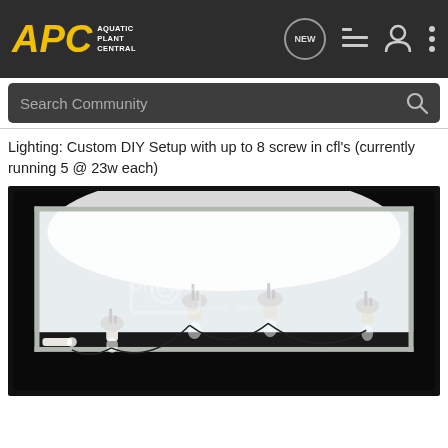APC Aquatic Plant Central — navigation bar with NEW, list, user, and menu icons
Search Community
Lighting: Custom DIY Setup with up to 8 screw in cfl's (currently running 5 @ 23w each)
[Figure (photo): Photograph of an aquarium tank viewed from the front, with the lid open showing 5 CFL bulbs mounted on white lamp sockets arranged in a row inside the tank. The interior is brightly lit white. The image has a Photobucket watermark overlay with camera icon and 'photobucket' text.]